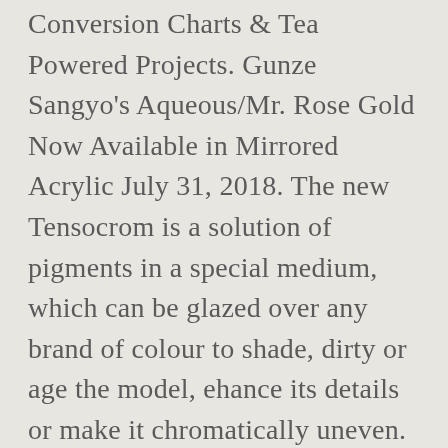Conversion Charts & Tea Powered Projects. Gunze Sangyo's Aqueous/Mr. Rose Gold Now Available in Mirrored Acrylic July 31, 2018. The new Tensocrom is a solution of pigments in a special medium, which can be glazed over any brand of colour to shade, dirty or age the model, ehance its details or make it chromatically uneven. Hobby Color acrylics are still some of my favorite paints to use, finding them can be a bit of a challenge (they are usually available through Lucky Model or BNA Model World). Simple and effective. 727 Blue. 650 Green. Re: Paint Conversion & Colour Charts... Post by Lysion » Sun Jul 07, 2013 10:01 am. Once expanded, click on it again to make it larger or smaller. Urban Fredriksson's Color